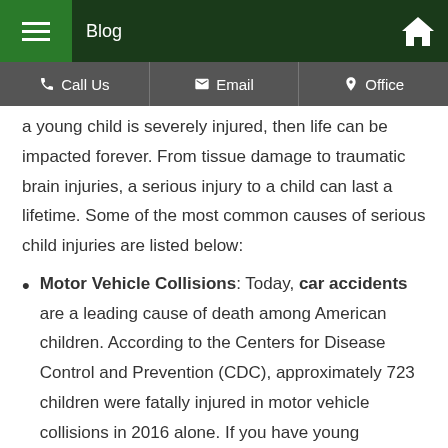Blog
a young child is severely injured, then life can be impacted forever. From tissue damage to traumatic brain injuries, a serious injury to a child can last a lifetime. Some of the most common causes of serious child injuries are listed below:
Motor Vehicle Collisions: Today, car accidents are a leading cause of death among American children. According to the Centers for Disease Control and Prevention (CDC), approximately 723 children were fatally injured in motor vehicle collisions in 2016 alone. If you have young children, equipping your child with the proper